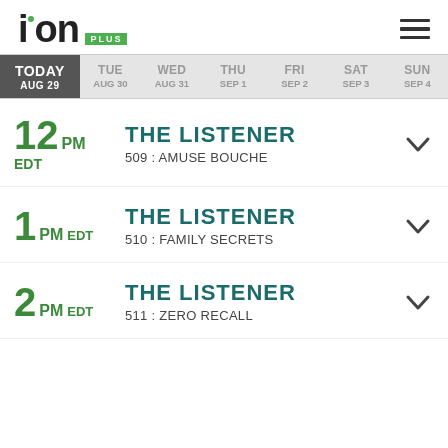[Figure (logo): ION Plus logo with green dot on i and green PLUS badge]
TODAY AUG 29 | TUE AUG 30 | WED AUG 31 | THU SEP 1 | FRI SEP 2 | SAT SEP 3 | SUN SEP 4
12 PM EDT — THE LISTENER — 509 : AMUSE BOUCHE
1 PM EDT — THE LISTENER — 510 : FAMILY SECRETS
2 PM EDT — THE LISTENER — 511 : ZERO RECALL